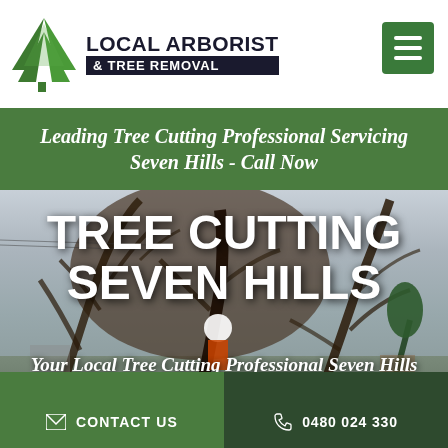[Figure (logo): Local Arborist & Tree Removal logo with green triangle/tree icon and dark navy text block]
[Figure (other): Green hamburger menu button (three horizontal white lines on green background)]
Leading Tree Cutting Professional Servicing Seven Hills - Call Now
[Figure (photo): Photo of arborist in orange jacket and white helmet working on a large bare tree in a rural/suburban setting]
TREE CUTTING SEVEN HILLS
Your Local Tree Cutting Professional Seven Hills
CONTACT US
0480 024 330